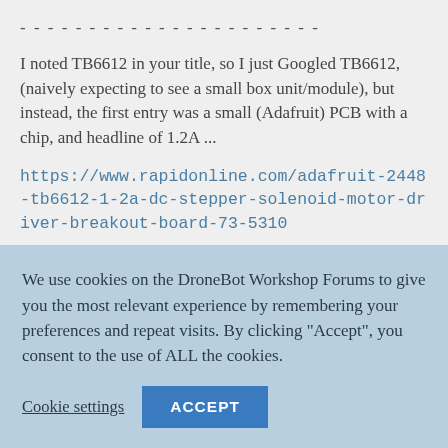------------------------
I noted TB6612 in your title, so I just Googled TB6612, (naively expecting to see a small box unit/module), but instead, the first entry was a small (Adafruit) PCB with a chip, and headline of 1.2A ...
https://www.rapidonline.com/adafruit-2448-tb6612-1-2a-dc-stepper-solenoid-motor-driver-breakout-board-73-5310
which produced an immediate reaction is one of 'Is this an appropriate device?'
We use cookies on the DroneBot Workshop Forums to give you the most relevant experience by remembering your preferences and repeat visits. By clicking "Accept", you consent to the use of ALL the cookies.
Cookie settings
ACCEPT